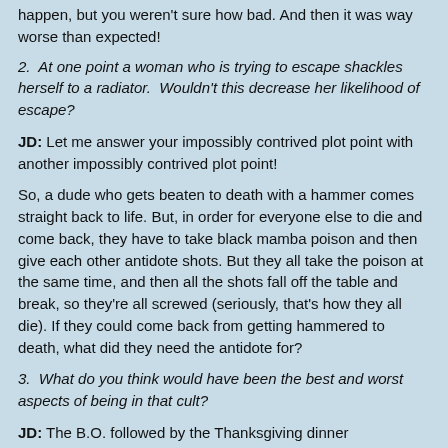happen, but you weren't sure how bad. And then it was way worse than expected!
2.  At one point a woman who is trying to escape shackles herself to a radiator.  Wouldn't this decrease her likelihood of escape?
JD: Let me answer your impossibly contrived plot point with another impossibly contrived plot point!
So, a dude who gets beaten to death with a hammer comes straight back to life. But, in order for everyone else to die and come back, they have to take black mamba poison and then give each other antidote shots. But they all take the poison at the same time, and then all the shots fall off the table and break, so they're all screwed (seriously, that's how they all die). If they could come back from getting hammered to death, what did they need the antidote for?
3.  What do you think would have been the best and worst aspects of being in that cult?
JD: The B.O. followed by the Thanksgiving dinner